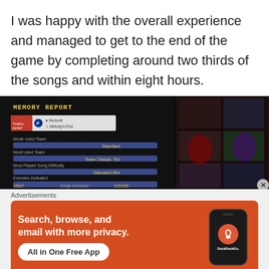I was happy with the overall experience and managed to get to the end of the game by completing around two thirds of the songs and within eight hours.
[Figure (screenshot): Screenshot of a Memory Report screen from a rhythm game (Kingdom Hearts Melody of Memory), showing stats: Trophy earned: Melody's End, Mode: Standard, Most Used Team: Team Classic 70x, Most Played Song Difficulty: Standard 80x, Enemies Defeated: 15627, Songs Unlocked: 115/150, World Tour Mission Completion. Right side shows character artwork.]
Advertisements
[Figure (infographic): DuckDuckGo advertisement banner. Orange background. Text: 'Search, browse, and email with more privacy. All in One Free App'. Shows a phone graphic with DuckDuckGo logo.]